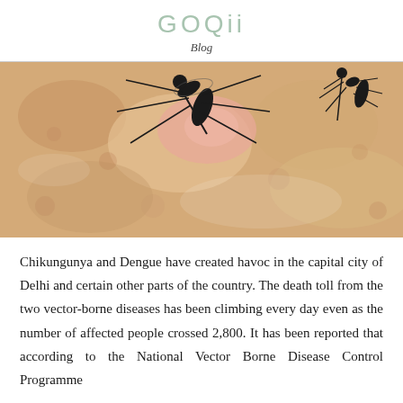GOQii
Blog
[Figure (photo): Close-up macro photograph of a mosquito biting human skin, showing the mosquito's legs and proboscis inserted into skin tissue.]
Chikungunya and Dengue have created havoc in the capital city of Delhi and certain other parts of the country. The death toll from the two vector-borne diseases has been climbing every day even as the number of affected people crossed 2,800. It has been reported that according to the National Vector Borne Disease Control Programme